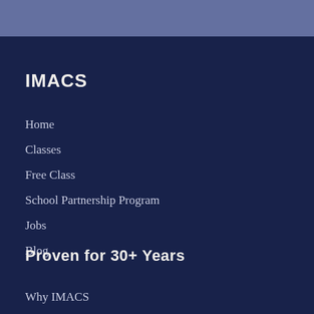IMACS
Home
Classes
Free Class
School Partnership Program
Jobs
Blog
Proven for 30+ Years
Why IMACS